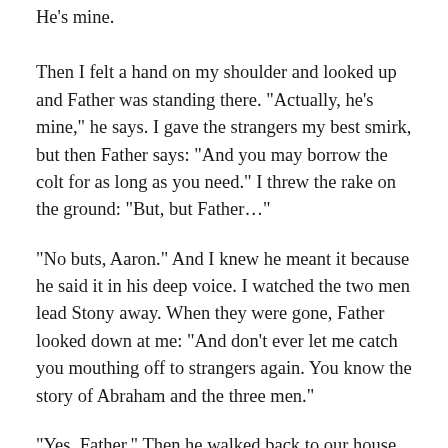He's mine.
Then I felt a hand on my shoulder and looked up and Father was standing there. “Actually, he’s mine,” he says. I gave the strangers my best smirk, but then Father says: “And you may borrow the colt for as long as you need.” I threw the rake on the ground: “But, but Father…”
“No buts, Aaron.” And I knew he meant it because he said it in his deep voice. I watched the two men lead Stony away. When they were gone, Father looked down at me: “And don’t ever let me catch you mouthing off to strangers again. You know the story of Abraham and the three men.”
“Yes, Father.” Then he walked back to our house and when he was out of sight I hopped the fence and